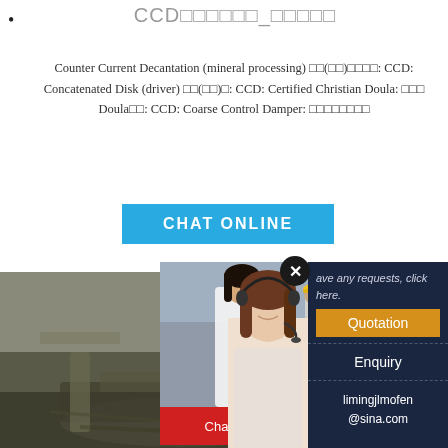•
CCD□□□□□□_□□□□□
Counter Current Decantation (mineral processing) □□(□□)□□□□: CCD: Concatenated Disk (driver) □□(□□)□: CCD: Certified Christian Doula: □□□ Doula□□: CCD: Coarse Control Damper: □□□□□□□□
[Figure (screenshot): CHAT ONLINE button in teal/blue]
[Figure (screenshot): Live chat popup overlay with construction workers background, LIVE CHAT heading in red italic, 'Click for a Free Consultation' text, Chat now (red) and Chat later (dark) buttons, close X button, and right sidebar with Quotation, Enquiry, and email limingjlmofen@sina.com on dark navy background]